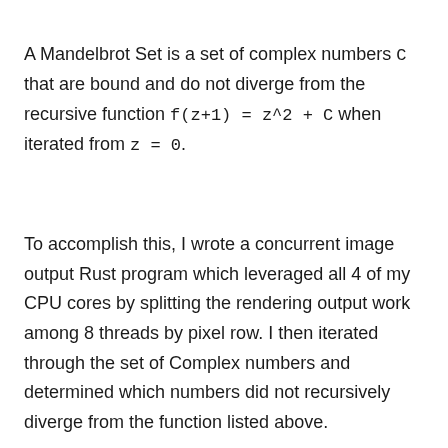A Mandelbrot Set is a set of complex numbers C that are bound and do not diverge from the recursive function f(z+1) = z^2 + C when iterated from z = 0.
To accomplish this, I wrote a concurrent image output Rust program which leveraged all 4 of my CPU cores by splitting the rendering output work among 8 threads by pixel row. I then iterated through the set of Complex numbers and determined which numbers did not recursively diverge from the function listed above.